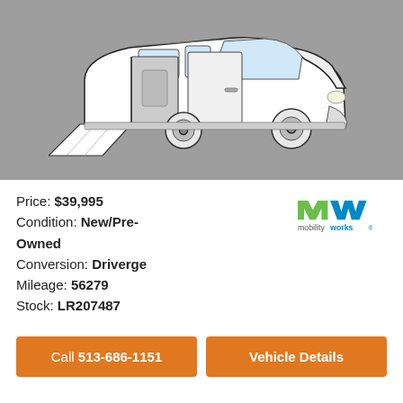[Figure (illustration): Line drawing of a wheelchair-accessible minivan with side ramp deployed, on a grey background]
Price: $39,995
Condition: New/Pre-Owned
Conversion: Driverge
Mileage: 56279
Stock: LR207487
[Figure (logo): MobilityWorks logo with green and blue M-W mark and 'mobilityworks' text]
Call 513-686-1151
Vehicle Details